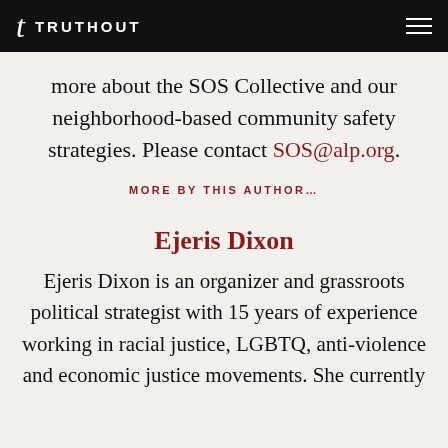TRUTHOUT
more about the SOS Collective and our neighborhood-based community safety strategies. Please contact SOS@alp.org.
MORE BY THIS AUTHOR…
Ejeris Dixon
Ejeris Dixon is an organizer and grassroots political strategist with 15 years of experience working in racial justice, LGBTQ, anti-violence and economic justice movements. She currently serves as the Founding Director of Visio...